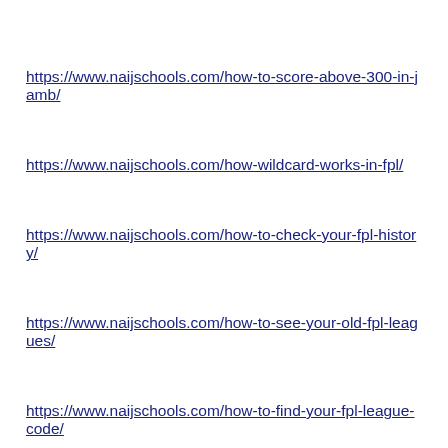https://www.naijschools.com/how-to-score-above-300-in-jamb/
https://www.naijschools.com/how-wildcard-works-in-fpl/
https://www.naijschools.com/how-to-check-your-fpl-history/
https://www.naijschools.com/how-to-see-your-old-fpl-leagues/
https://www.naijschools.com/how-to-find-your-fpl-league-code/
https://www.naijschools.com/how-to-join-a-private-league-in-fpl/
https://www.naijschools.com/how-to-find-your-league-id-for-fpl/
https://www.naijschools.com/best-sites-to-download-mod-apk/